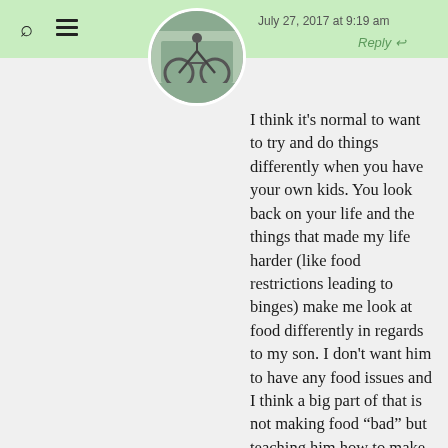July 27, 2017 at 9:19 am
[Figure (photo): Circular avatar photo showing a person on a bicycle, outdoors setting]
Reply
I think it’s normal to want to try and do things differently when you have your own kids. You look back on your life and the things that made my life harder (like food restrictions leading to binges) make me look at food differently in regards to my son. I don’t want him to have any food issues and I think a big part of that is not making food “bad” but teaching him how to make better choices.